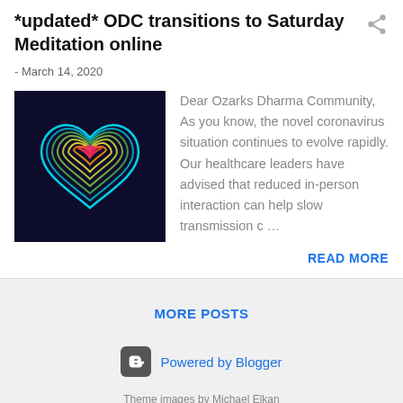*updated* ODC transitions to Saturday Meditation online
- March 14, 2020
[Figure (photo): Neon rainbow heart shape glowing on dark background]
Dear Ozarks Dharma Community, As you know, the novel coronavirus situation continues to evolve rapidly. Our healthcare leaders have advised that reduced in-person interaction can help slow transmission c …
READ MORE
MORE POSTS
Powered by Blogger
Theme images by Michael Elkan